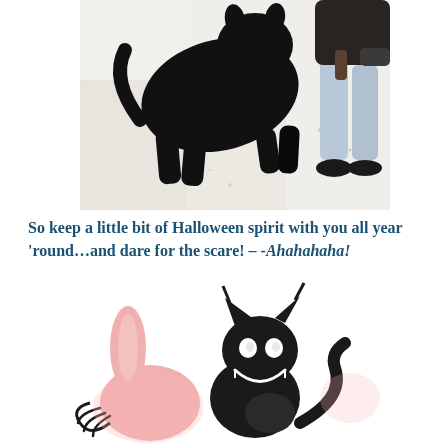[Figure (photo): A black dog photographed from above on a light-colored floor, with a person in jeans and dark shoes visible in the upper right corner holding something.]
So keep a little bit of Halloween spirit with you all year ‘round…and dare for the scare! – -Ahahahaha!
[Figure (illustration): A cartoon illustration of a black cat with glowing white eyes and a wide grin, ears raised, next to a pink rabbit-like silhouette on the left, both on a white background.]